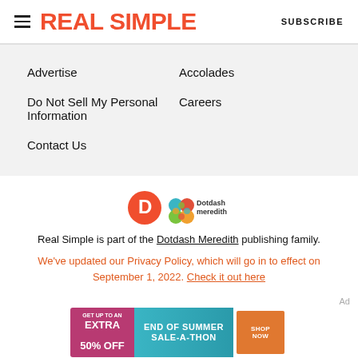REAL SIMPLE | SUBSCRIBE
Advertise
Accolades
Do Not Sell My Personal Information
Careers
Contact Us
[Figure (logo): Dotdash Meredith logo with orange D icon and colorful diamond pattern]
Real Simple is part of the Dotdash Meredith publishing family.
We've updated our Privacy Policy, which will go in to effect on September 1, 2022. Check it out here
Ad
[Figure (infographic): Advertisement banner: GET UP TO AN EXTRA 50% OFF — END OF SUMMER SALE-A-THON — SHOP NOW button]